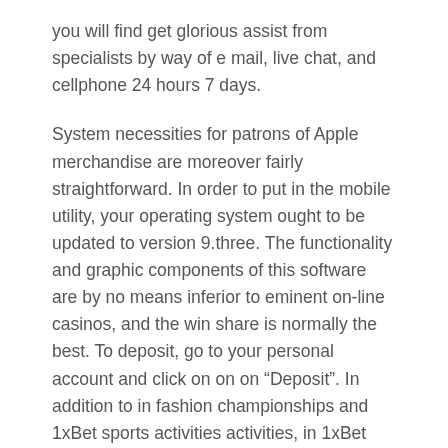you will find get glorious assist from specialists by way of e mail, live chat, and cellphone 24 hours 7 days.
System necessities for patrons of Apple merchandise are moreover fairly straightforward. In order to put in the mobile utility, your operating system ought to be updated to version 9.three. The functionality and graphic components of this software are by no means inferior to eminent on-line casinos, and the win share is normally the best. To deposit, go to your personal account and click on on on “Deposit”. In addition to in fashion championships and 1xBet sports activities activities, in 1xBet you presumably can guess on very unique outcomes.
In most instances, though, gamers can’t acquire their welcome bonus both as a end result of they haven’t used their 1XBet login or completely different non-